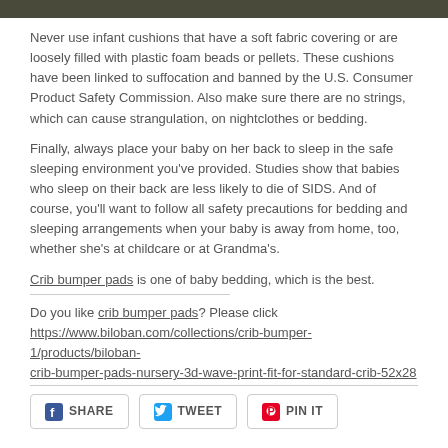[Figure (photo): Dark colored image bar at top of page]
Never use infant cushions that have a soft fabric covering or are loosely filled with plastic foam beads or pellets. These cushions have been linked to suffocation and banned by the U.S. Consumer Product Safety Commission. Also make sure there are no strings, which can cause strangulation, on nightclothes or bedding.
Finally, always place your baby on her back to sleep in the safe sleeping environment you've provided. Studies show that babies who sleep on their back are less likely to die of SIDS. And of course, you'll want to follow all safety precautions for bedding and sleeping arrangements when your baby is away from home, too, whether she's at childcare or at Grandma's.
Crib bumper pads is one of baby bedding, which is the best.
Do you like crib bumper pads? Please click https://www.biloban.com/collections/crib-bumper-1/products/biloban-crib-bumper-pads-nursery-3d-wave-print-fit-for-standard-crib-52x28